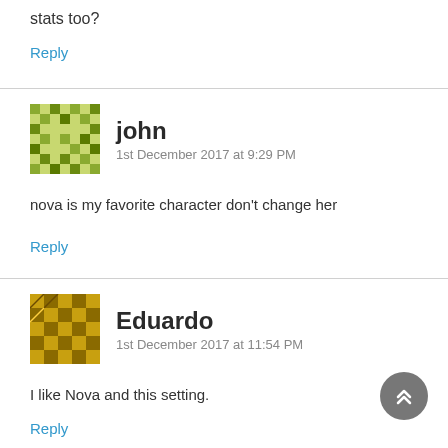stats too?
Reply
john
1st December 2017 at 9:29 PM
nova is my favorite character don't change her
Reply
Eduardo
1st December 2017 at 11:54 PM
I like Nova and this setting.
Reply